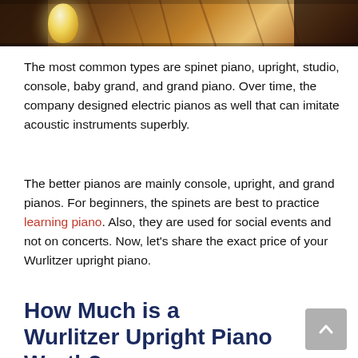[Figure (photo): Close-up photo of a piano interior with warm lighting and a glowing paper lantern, showing wooden and mechanical parts in dark amber tones.]
The most common types are spinet piano, upright, studio, console, baby grand, and grand piano. Over time, the company designed electric pianos as well that can imitate acoustic instruments superbly.
The better pianos are mainly console, upright, and grand pianos. For beginners, the spinets are best to practice learning piano. Also, they are used for social events and not on concerts. Now, let's share the exact price of your Wurlitzer upright piano.
How Much is a Wurlitzer Upright Piano Worth?